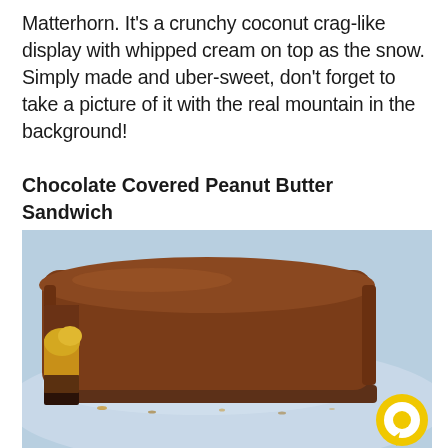Matterhorn. It's a crunchy coconut crag-like display with whipped cream on top as the snow. Simply made and uber-sweet, don't forget to take a picture of it with the real mountain in the background!
Chocolate Covered Peanut Butter Sandwich
[Figure (photo): Close-up photo of a chocolate-covered peanut butter sandwich bar with a bite taken out, revealing layers of peanut butter cream and cookie, sitting on a light blue plate. A yellow chat bubble icon is visible in the bottom right corner.]